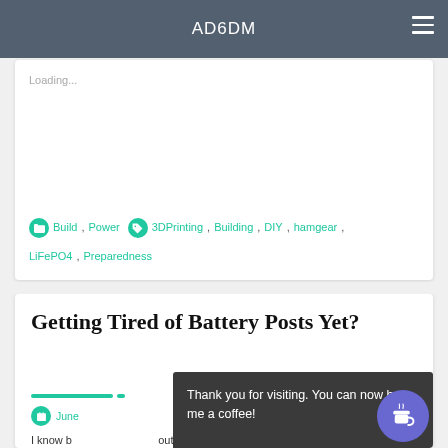AD6DM
Loading...
Build, Power  3DPrinting, Building, DIY, hamgear, LiFePO4, Preparedness
Getting Tired of Battery Posts Yet?
June  ents
I know b... bou batteries. But it's just fascinating to me to refine the
Thank you for visiting. You can now buy me a coffee!